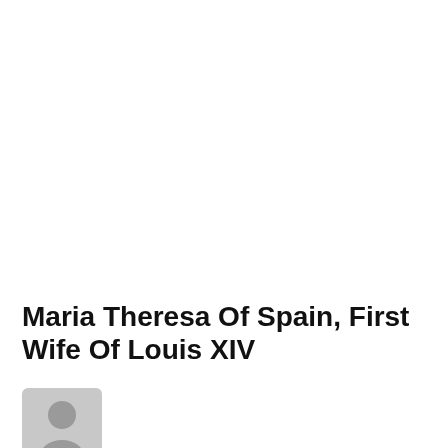Maria Theresa Of Spain, First Wife Of Louis XIV
[Figure (photo): Generic person placeholder icon — silhouette of a person in a grey rounded square]